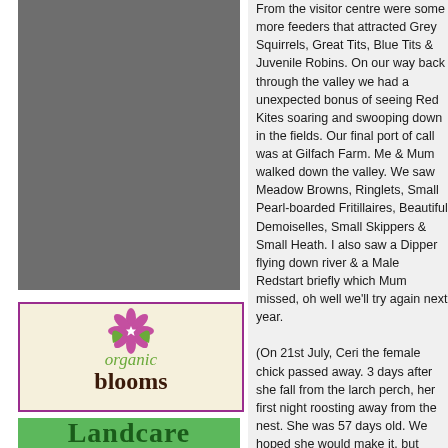[Figure (photo): Grey rectangular photo placeholder, showing a nature/wildlife scene (shown as solid grey).]
[Figure (logo): Organic Blooms logo: cream/beige background with magenta border, pink flower with white star center, green leaves, text 'organic blooms' in dark brown serif font with green 'i' dot.]
[Figure (logo): Landcare logo: green background with dark green bold serif text 'Landcare'.]
From the visitor centre were some more feeders that attracted Grey Squirrels, Great Tits, Blue Tits & Juvenile Robins. On our way back through the valley we had a unexpected bonus of seeing Red Kites soaring and swooping down in the fields. Our final port of call was at Gilfach Farm. Me & Mum walked down the valley. We saw Meadow Browns, Ringlets, Small Pearl-boarded Fritillaires, Beautiful Demoiselles, Small Skippers & Small Heath. I also saw a Dipper flying down river & a Male Redstart briefly which Mum missed, oh well we'll try again next year.

(On 21st July, Ceri the female chick passed away. 3 days after she fall from the larch perch, her first night roosting away from the nest. She was 57 days old. We hoped she would make it, but must have injured herself more